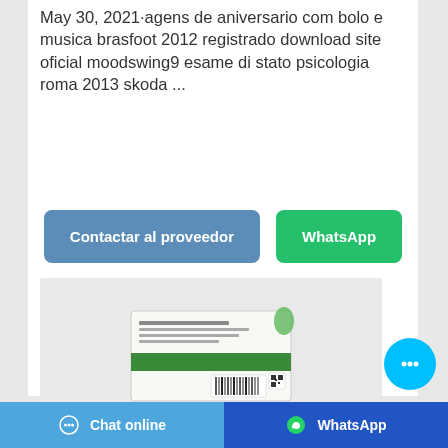May 30, 2021·agens de aniversario com bolo e musica brasfoot 2012 registrado download site oficial moodswing9 esame di stato psicologia roma 2013 skoda ...
[Figure (other): Two action buttons: 'Contactar al proveedor' (blue-grey) and 'WhatsApp' (green)]
[Figure (photo): Product package photo showing a white box/container with label text and barcode, on a light grey background]
[Figure (other): Floating chat bubble button (cyan circle with ellipsis icon) in bottom-right area]
Chat online   WhatsApp